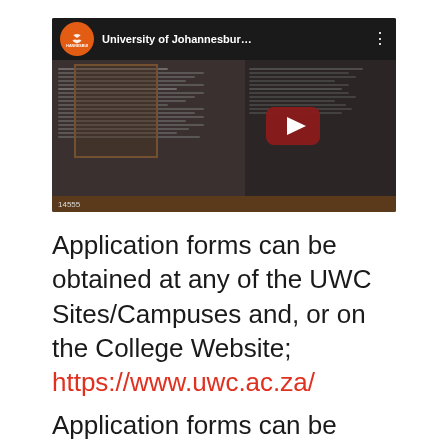[Figure (screenshot): YouTube video thumbnail showing University of Johannesburg video with a document/spreadsheet visible in the background and a red play button. The video title reads 'University of Johannesbur...' and the view count shows 14555.]
Application forms can be obtained at any of the UWC Sites/Campuses and, or on the College Website; https://www.uwc.ac.za/
Application forms can be obtained